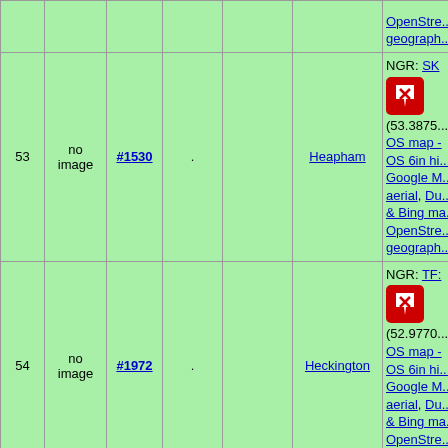| # | Image | ID | Dot | Empty | Name | Info |
| --- | --- | --- | --- | --- | --- | --- |
|  |  |  | . |  |  | OpenStre... geograph... |
| 53 | no image | #1530 | . |  | Heapham | NGR: SK...
(53.3875...
OS map -
OS 6in hi...
Google M...
aerial, Du...
& Bing ma...
OpenStre...
geograph... |
| 54 | no image | #1972 | . |  | Heckington | NGR: TF:...
(52.9770...
OS map -
OS 6in hi...
Google M...
aerial, Du...
& Bing ma...
OpenStre...
geograph... |
|  |  |  |  |  |  | NGR: TF:... |